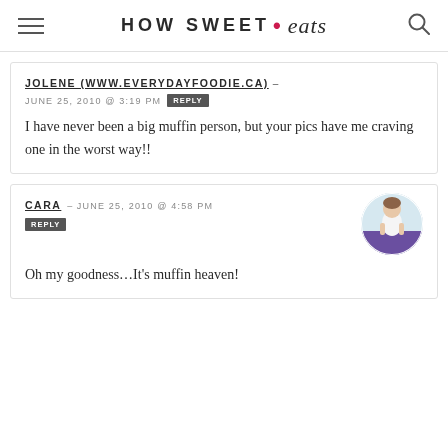HOW SWEET • eats
JOLENE (WWW.EVERYDAYFOODIE.CA) – JUNE 25, 2010 @ 3:19 PM REPLY
I have never been a big muffin person, but your pics have me craving one in the worst way!!
CARA – JUNE 25, 2010 @ 4:58 PM REPLY
Oh my goodness…It's muffin heaven!